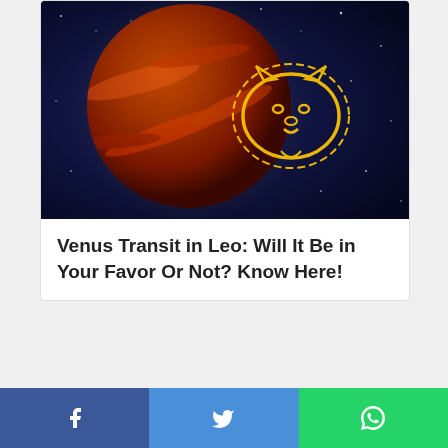[Figure (illustration): Venus planet with Leo zodiac sign (lion) symbol glowing in yellow, set against a dark blue starry space background]
Venus Transit in Leo: Will It Be in Your Favor Or Not? Know Here!
[Figure (illustration): Astroyogi advertisement banner for Ganesh Chaturthi showing logo, golden yellow bold text GANESH CHATURTHI, bullet points for MUHURAT, VIDHI, LEGEND, and an image of Ganesh idol on the right, on a grey geometric background]
f  [Facebook share button]  [Twitter share button]  [WhatsApp share button]